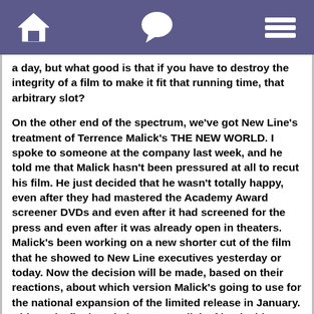[navigation bar with home, chat, and menu icons]
a day, but what good is that if you have to destroy the integrity of a film to make it fit that running time, that arbitrary slot?
On the other end of the spectrum, we've got New Line's treatment of Terrence Malick's THE NEW WORLD. I spoke to someone at the company last week, and he told me that Malick hasn't been pressured at all to recut his film. He just decided that he wasn't totally happy, even after they had mastered the Academy Award screener DVDs and even after it had screened for the press and even after it was already open in theaters. Malick's been working on a new shorter cut of the film that he showed to New Line executives yesterday or today. Now the decision will be made, based on their reactions, about which version Malick's going to use for the national expansion of the limited release in January. Ultimately, final cut belongs to Malick. If he decides to